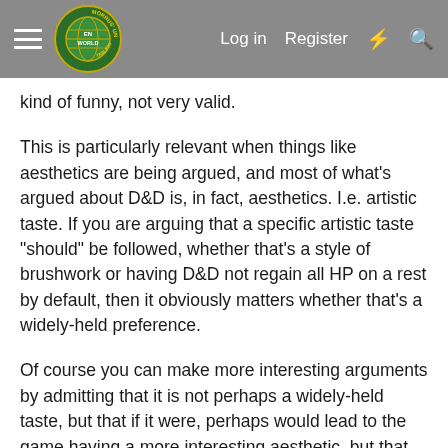Morrus' Unofficial Tabletop RPG News | Log in | Register
kind of funny, not very valid.
This is particularly relevant when things like aesthetics are being argued, and most of what's argued about D&D is, in fact, aesthetics. I.e. artistic taste. If you are arguing that a specific artistic taste "should" be followed, whether that's a style of brushwork or having D&D not regain all HP on a rest by default, then it obviously matters whether that's a widely-held preference.
Of course you can make more interesting arguments by admitting that it is not perhaps a widely-held taste, but that if it were, perhaps would lead to the game having a more interesting aesthetic, but that requires being realistic and not feeling offended because someone (correctly) points out your opinion is not widely-held.